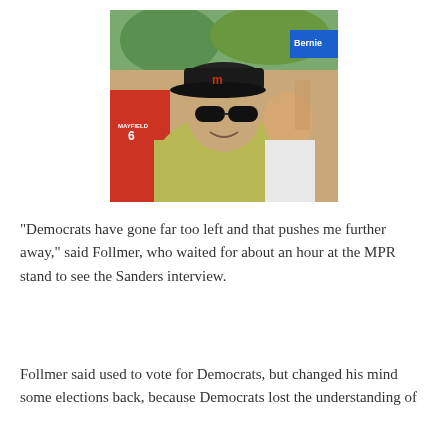[Figure (photo): An older man wearing a dark baseball cap with an 'M' logo and dark sunglasses, smiling, dressed in a yellow-green polo shirt. He is standing in a crowd at what appears to be an outdoor event. In the background, a person in a red jersey with 'MAYFIELD' and number 6, and someone holding a blue 'Bernie' campaign sign are visible.]
"Democrats have gone far too left and that pushes me further away," said Follmer, who waited for about an hour at the MPR stand to see the Sanders interview.
Follmer said used to vote for Democrats, but changed his mind some elections back, because Democrats lost the understanding of